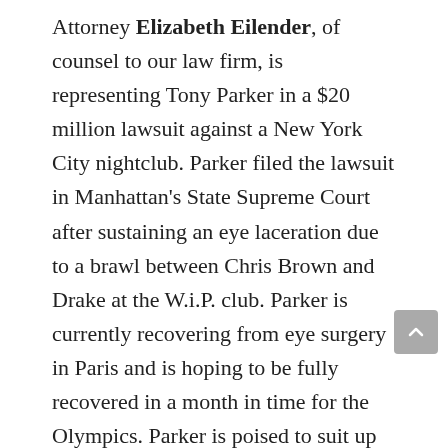Attorney Elizabeth Eilender, of counsel to our law firm, is representing Tony Parker in a $20 million lawsuit against a New York City nightclub. Parker filed the lawsuit in Manhattan's State Supreme Court after sustaining an eye laceration due to a brawl between Chris Brown and Drake at the W.i.P. club. Parker is currently recovering from eye surgery in Paris and is hoping to be fully recovered in a month in time for the Olympics. Parker is poised to suit up for his home country of France. In an exclusive interview with E! News, Eilender explained that due to failed security measures and additional negligence on behalf of the nightclub, Parker was unnecessarily injured. The lawsuit accuses the club of negligence on the grounds of "failing to adequately secure the premises, failing to call the police in a timely manner and failing to monitor